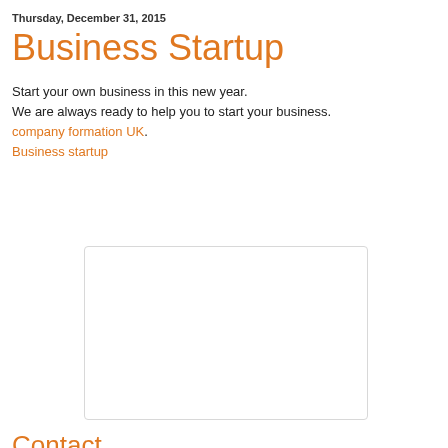Thursday, December 31, 2015
Business Startup
Start your own business in this new year.
We are always ready to help you to start your business.
company formation UK.
Business startup
[Figure (other): Empty white placeholder image with light gray border]
Contact